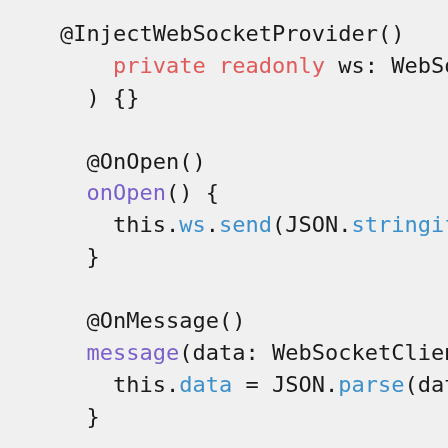[Figure (screenshot): Code snippet showing TypeScript/Angular-style class methods: constructor with private readonly ws WebSocketClient property, onOpen lifecycle method sending JSON stringified event via websocket, onMessage method parsing received WebSocketClient.Data, and async getData method returning a Promise<Record<any>>.]